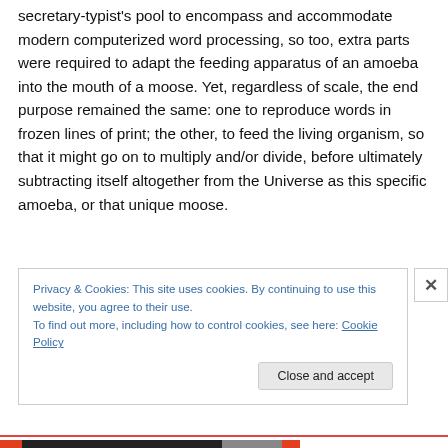secretary-typist's pool to encompass and accommodate modern computerized word processing, so too, extra parts were required to adapt the feeding apparatus of an amoeba into the mouth of a moose. Yet, regardless of scale, the end purpose remained the same: one to reproduce words in frozen lines of print; the other, to feed the living organism, so that it might go on to multiply and/or divide, before ultimately subtracting itself altogether from the Universe as this specific amoeba, or that unique moose.
Privacy & Cookies: This site uses cookies. By continuing to use this website, you agree to their use.
To find out more, including how to control cookies, see here: Cookie Policy
Close and accept